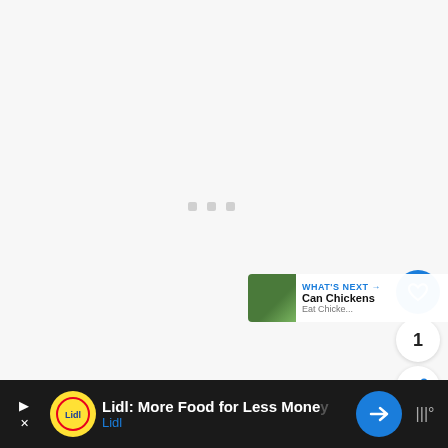[Figure (screenshot): A mostly blank/loading webpage area with light gray background and three small gray loading indicator dots in the center.]
[Figure (screenshot): What's Next bar showing a thumbnail of green leafy plant and text 'WHAT'S NEXT → Can Chickens' with subtext partially cut off.]
[Figure (screenshot): Bottom advertisement bar on dark background: Lidl ad with yellow logo circle, text 'Lidl: More Food for Less Money', 'Lidl' in blue, blue navigation icon on right, and weather widget area on far right.]